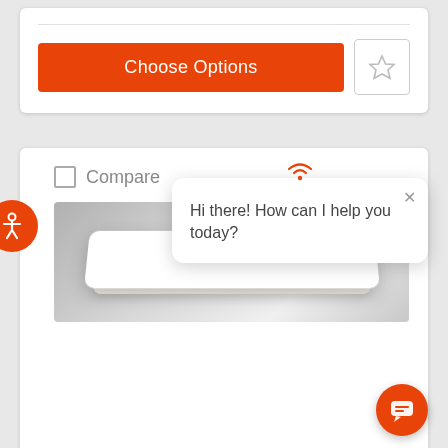[Figure (screenshot): Orange 'Choose Options' button with a star/wishlist button to the right, inside a white card.]
Compare
[Figure (screenshot): Accessibility icon (person in circle) in orange, overlapping left edge of card.]
[Figure (screenshot): Chat popup with wifi signal icon at top, X close button, and text 'Hi there! How can I help you today?']
Hi there! How can I help you today?
[Figure (photo): Product image of a white rectangular shelf/tray on a gray gradient background.]
[Figure (screenshot): Orange circular chat FAB button with chat bubble icon in bottom right corner.]